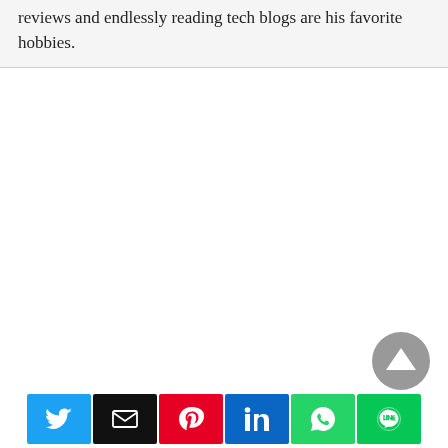reviews and endlessly reading tech blogs are his favorite hobbies.
[Figure (other): Scroll-to-top button: dark gray circle with upward-pointing triangle/arrow in center]
Social share buttons: Twitter, Email, Pinterest, LinkedIn, WhatsApp, LINE